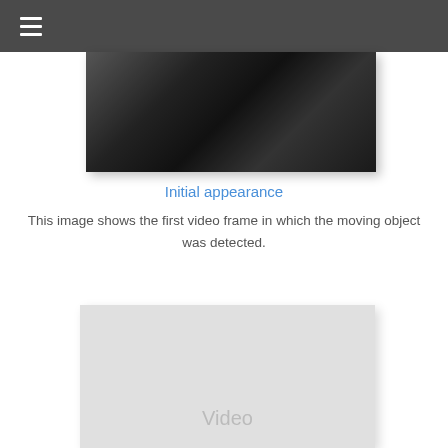☰
[Figure (photo): Dark grayscale image, appears to be a noisy/static video frame]
Initial appearance
This image shows the first video frame in which the moving object was detected.
[Figure (other): Light gray video placeholder box with the text 'Video']